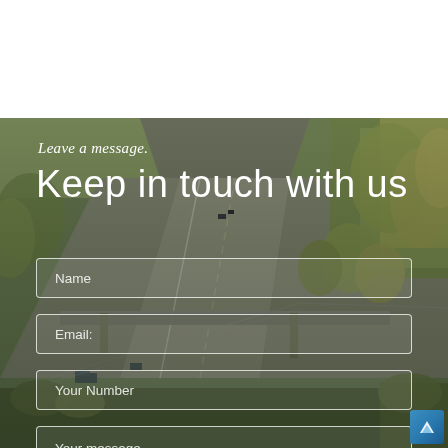[Figure (photo): Aerial view of a highway interchange with multiple lanes, vehicles including trucks, surrounded by autumn trees and green landscape]
Leave a message.
Keep in touch with us
Name
Email:
Your Number
Your message